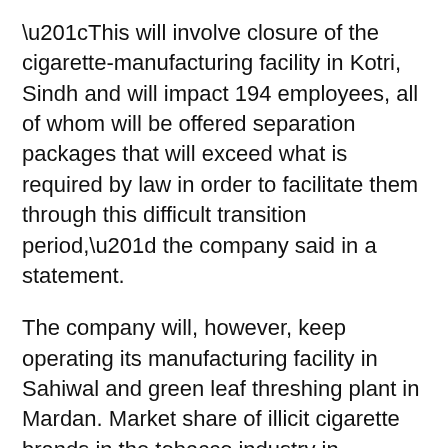“This will involve closure of the cigarette-manufacturing facility in Kotri, Sindh and will impact 194 employees, all of whom will be offered separation packages that will exceed what is required by law in order to facilitate them through this difficult transition period,” the company said in a statement.
The company will, however, keep operating its manufacturing facility in Sahiwal and green leaf threshing plant in Mardan. Market share of illicit cigarette brands in the tobacco industry in Pakistan crossed 41 percent in the fiscal year of 2016/17.
The primary source of cheap illicit cigarettes is locally-manufactured tax-evaded